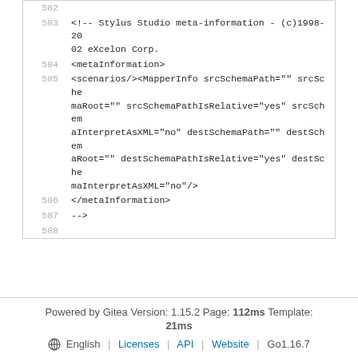582
583   <!-- Stylus Studio meta-information - (c)1998-2002 eXcelon Corp.
584   <metaInformation>
585   <scenarios/><MapperInfo srcSchemaPath="" srcSchemaRoot="" srcSchemaPathIsRelative="yes" srcSchemaInterpretAsXML="no" destSchemaPath="" destSchemaRoot="" destSchemaPathIsRelative="yes" destSchemaInterpretAsXML="no"/>
586   </metaInformation>
587   -->
588
Powered by Gitea Version: 1.15.2 Page: 112ms Template: 21ms
English | Licenses | API | Website | Go1.16.7